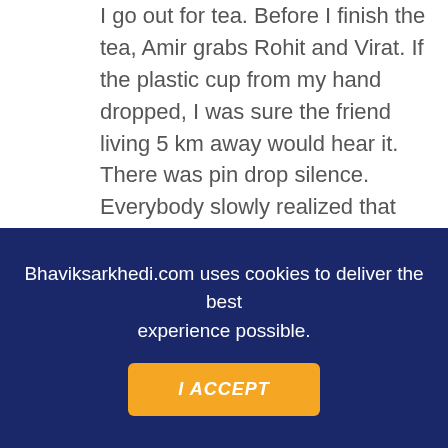I go out for tea. Before I finish the tea, Amir grabs Rohit and Virat. If the plastic cup from my hand dropped, I was sure the friend living 5 km away would hear it. There was pin drop silence. Everybody slowly realized that there was nothing that India could blame on the Pakistanis today because of their stupendous batting performance and their long wait of winning in an ICC event would end probably. f the topic, I was also hoping about their situation of w they would be feeling when they go every time
INQUIRY FORM
Bhaviksarkhedi.com uses cookies to deliver the best experience possible.
I ACCEPT